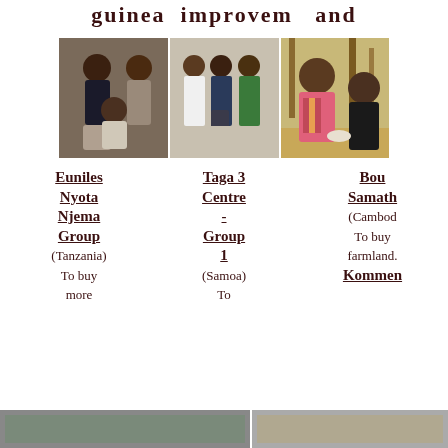guinea improvem and
[Figure (photo): Three-panel photo strip showing groups of people: left panel shows two women, center panel shows three people standing indoors, right panel shows a woman in pink and a man outdoors.]
Euniles Nyota Njema Group (Tanzania) To buy more
Taga 3 Centre - Group 1 (Samoa) To
Bou Samath (Cambod To buy farmland. Kommen
[Figure (photo): Partial bottom photos visible at the bottom of the page.]